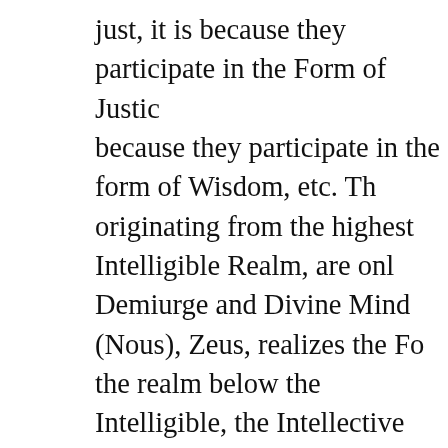just, it is because they participate in the Form of Justice, because they participate in the form of Wisdom, etc. The originating from the highest Intelligible Realm, are only Demiurge and Divine Mind (Nous), Zeus, realizes the Form the realm below the Intelligible, the Intellective Realm. real and existent things (Plato Greater Hippias, 287d), rather than metaphorical or psychological constructs. So as a Form having an existence outside of any beautiful thing. Instead, beauty (i.e., everything to some degree) participates the way we know by which degrees things are beautiful (P so the Forms, which participate the Form of Beauty, are anything and everything ontologically posterior to (i.e., Forms also contains some amount of beauty.
However, the Form of Beauty holds a unique position and Symposium describes wisdom, which is itself the product. This explicitly implies that Beauty is somehow greater than Wisdom; otherwise, Wisdom would have no need to participate. apparently does. Furthermore, in the Phaedrus (Plato